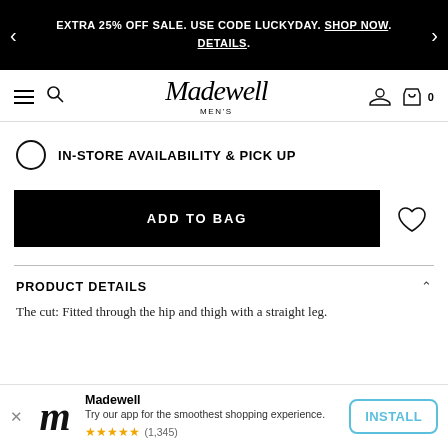EXTRA 25% OFF SALE. USE CODE LUCKYDAY. SHOP NOW. DETAILS.
[Figure (logo): Madewell Men's logo with hamburger menu and search icon on left, user and bag icons on right]
IN-STORE AVAILABILITY & PICK UP
ADD TO BAG
PRODUCT DETAILS
The cut: Fitted through the hip and thigh with a straight leg.
[Figure (screenshot): Madewell app install banner with logo, description 'Try our app for the smoothest shopping experience.', 5-star rating (1,345 reviews), and INSTALL button]